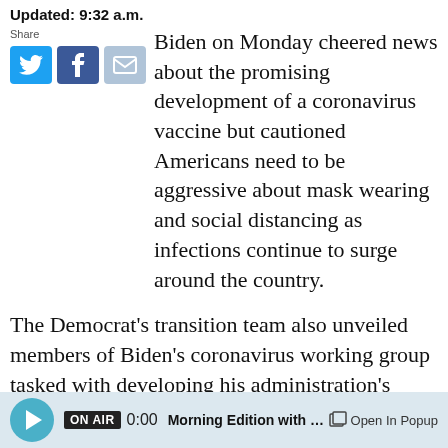Updated: 9:32 a.m.
Biden on Monday cheered news about the promising development of a coronavirus vaccine but cautioned Americans need to be aggressive about mask wearing and social distancing as infections continue to surge around the country.
The Democrat's transition team also unveiled members of Biden's coronavirus working group tasked with developing his administration's pandemic response — something Biden says he wants to put in motion as soon as he takes office in January.
As Biden unveiled his coronavirus advisory board
ON AIR 0:00 Morning Edition with Cathy W  Open In Popup